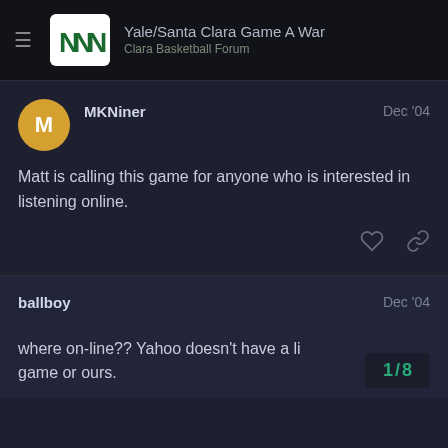Yale/Santa Clara Game A War · Clara Basketball Forum
MKNiner   Dec '04
Matt is calling this game for anyone who is interested in listening online.
ballboy   Dec '04
where on-line?? Yahoo doesn't have a li... game or ours.
1/8